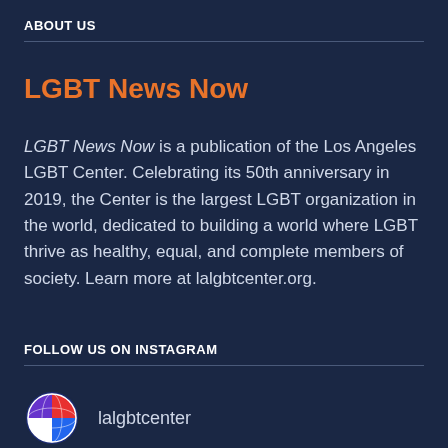ABOUT US
LGBT News Now
LGBT News Now is a publication of the Los Angeles LGBT Center. Celebrating its 50th anniversary in 2019, the Center is the largest LGBT organization in the world, dedicated to building a world where LGBT thrive as healthy, equal, and complete members of society. Learn more at lalgbtcenter.org.
FOLLOW US ON INSTAGRAM
lalgbtcenter